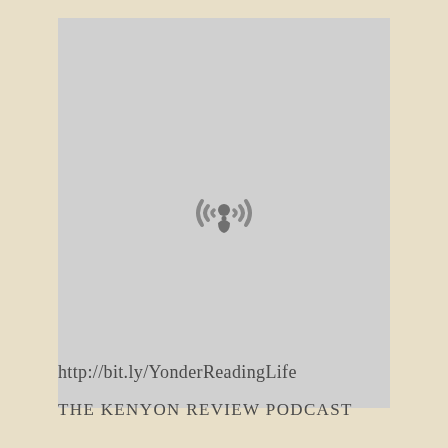[Figure (illustration): Podcast icon (radio waves with person silhouette) centered on a light gray rectangular background]
http://bit.ly/YonderReadingLife
THE KENYON REVIEW PODCAST